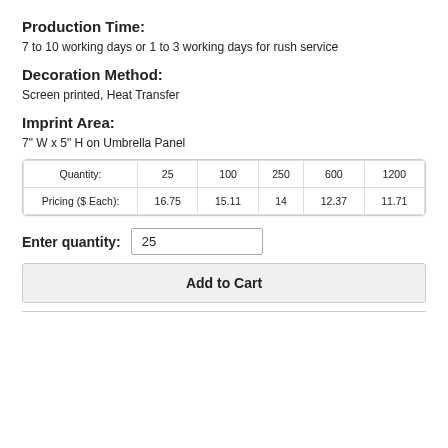Production Time:
7 to 10 working days or 1 to 3 working days for rush service
Decoration Method:
Screen printed, Heat Transfer
Imprint Area:
7" W x 5" H on Umbrella Panel
| Quantity: | 25 | 100 | 250 | 600 | 1200 |
| --- | --- | --- | --- | --- | --- |
| Pricing ($ Each): | 16.75 | 15.11 | 14 | 12.37 | 11.71 |
Enter quantity: 25
Add to Cart